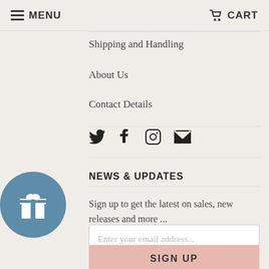MENU  CART
Privacy Policy
Shipping and Handling
About Us
Contact Details
[Figure (illustration): Social media icons: Twitter bird, Facebook f, Instagram camera, Email envelope]
[Figure (illustration): Blue circle badge with white gift box icon]
NEWS & UPDATES
Sign up to get the latest on sales, new releases and more ...
Enter your email address...
SIGN UP